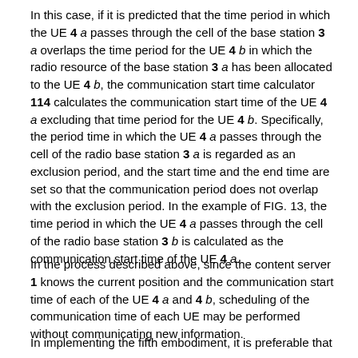In this case, if it is predicted that the time period in which the UE 4 a passes through the cell of the base station 3 a overlaps the time period for the UE 4 b in which the radio resource of the base station 3 a has been allocated to the UE 4 b, the communication start time calculator 114 calculates the communication start time of the UE 4 a excluding that time period for the UE 4 b. Specifically, the period time in which the UE 4 a passes through the cell of the radio base station 3 a is regarded as an exclusion period, and the start time and the end time are set so that the communication period does not overlap with the exclusion period. In the example of FIG. 13, the time period in which the UE 4 a passes through the cell of the radio base station 3 b is calculated as the communication start time of the UE 4 a.
In the process described above, since the content server 1 knows the current position and the communication start time of each of the UE 4 a and 4 b, scheduling of the communication time of each UE may be performed without communicating new information.
In implementing the fifth embodiment, it is preferable that the...